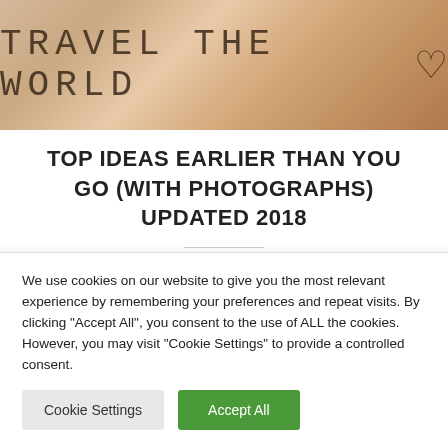[Figure (photo): Photo banner with text 'TRAVEL THE WORLD' and a heart symbol, showing hands/skin in warm tones background]
TOP IDEAS EARLIER THAN YOU GO (WITH PHOTOGRAPHS) UPDATED 2018
We create holidays and knowledgeable-led and wildlife group excursions to over 100 destinations worldwide. Allianz Travel Insurance has a range of travel cowl choices
We use cookies on our website to give you the most relevant experience by remembering your preferences and repeat visits. By clicking "Accept All", you consent to the use of ALL the cookies. However, you may visit "Cookie Settings" to provide a controlled consent.